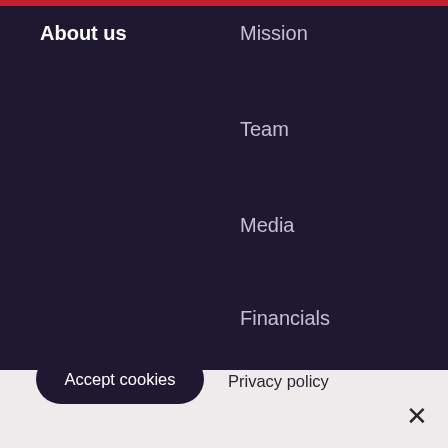About us
Mission
Team
Media
Financials
By clicking “Accept All Cookies”, you agree to the storing of cookies on your device to enhance site navigation, analyze site usage, and assist in our marketing efforts. For more information about the cookies we use and how to manage them, please see our Cookie Notice.
Accept cookies
Privacy policy